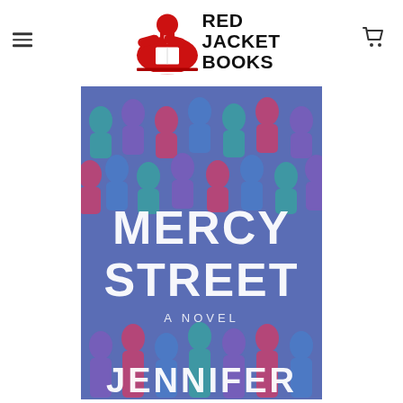Red Jacket Books - navigation header with logo
[Figure (photo): Book cover of 'Mercy Street: A Novel' by Jennifer, showing a crowd of silhouetted human figures in shades of blue, teal, and magenta/pink, with 'MERCY STREET' in large bold white letters and 'A NOVEL' in smaller white letters below, and 'JENNIFER' at the bottom]